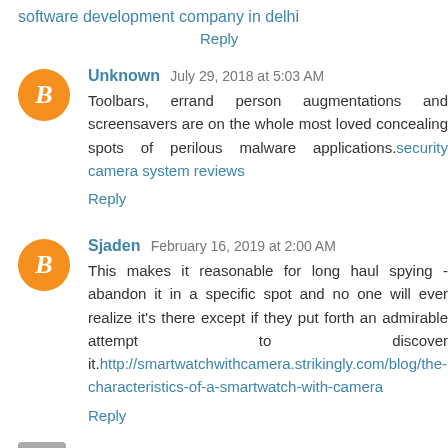software development company in delhi
Reply
Unknown  July 29, 2018 at 5:03 AM
Toolbars, errand person augmentations and screensavers are on the whole most loved concealing spots of perilous malware applications.security camera system reviews
Reply
Sjaden  February 16, 2019 at 2:00 AM
This makes it reasonable for long haul spying - abandon it in a specific spot and no one will ever realize it's there except if they put forth an admirable attempt to discover it.http://smartwatchwithcamera.strikingly.com/blog/the-characteristics-of-a-smartwatch-with-camera
Reply